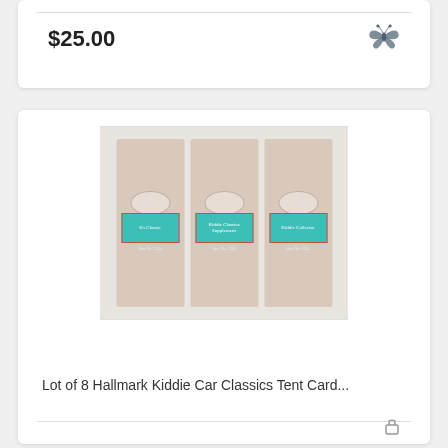$25.00
[Figure (photo): Three Hallmark Kiddie Car Classics tent card packages with teal/turquoise labels and oval logos, beige/cream colored boxes]
Lot of 8 Hallmark Kiddie Car Classics Tent Card...